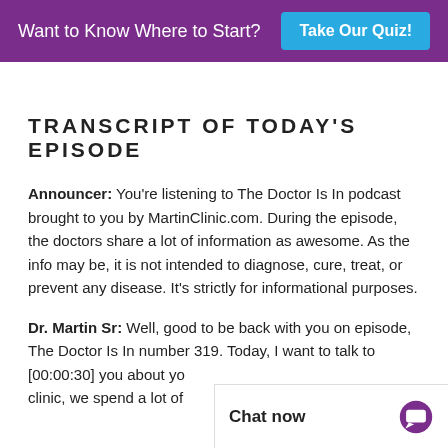Want to Know Where to Start? Take Our Quiz!
TRANSCRIPT OF TODAY'S EPISODE
Announcer: You're listening to The Doctor Is In podcast brought to you by MartinClinic.com. During the episode, the doctors share a lot of information as awesome. As the info may be, it is not intended to diagnose, cure, treat, or prevent any disease. It's strictly for informational purposes.
Dr. Martin Sr: Well, good to be back with you on episode, The Doctor Is In number 319. Today, I want to talk to [00:00:30] you about yo... clinic, we spend a lot of